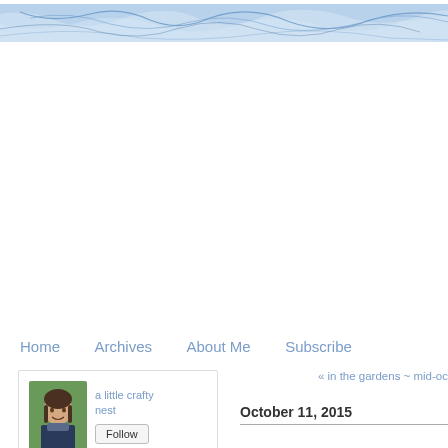[Figure (photo): Blue and white marble texture banner at the top of the page]
Home   Archives   About Me   Subscribe
[Figure (photo): Blog follow widget showing avatar photo of a woman outdoors, blog name 'a little crafty nest', and a Follow button]
« in the gardens ~ mid-oc
October 11, 2015